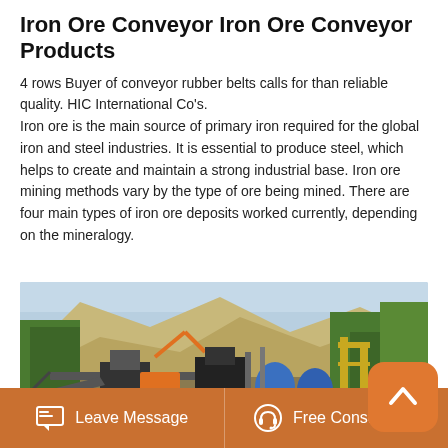Iron Ore Conveyor Iron Ore Conveyor Products
4 rows Buyer of conveyor rubber belts calls for than reliable quality. HIC International Co's.
Iron ore is the main source of primary iron required for the global iron and steel industries. It is essential to produce steel, which helps to create and maintain a strong industrial base. Iron ore mining methods vary by the type of ore being mined. There are four main types of iron ore deposits worked currently, depending on the mineralogy.
[Figure (photo): Outdoor iron ore mining and processing facility with conveyor belts, excavators, industrial machinery, blue ore crushers, and green trees in the background against a rocky hillside.]
Leave Message   Free Consultation